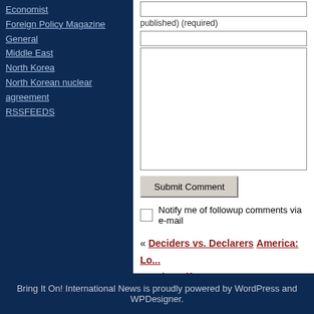Economist
Foreign Policy Magazine
General
Middle East
North Korea
North Korean nuclear agreement
RSSFEEDS
published) (required)
Submit Comment
Notify me of followup comments via e-mail
« Deciders vs. Declarers  America: Lo... Number Fifteen! »
Bring It On! International News is proudly powered by WordPress and WPDesigner.